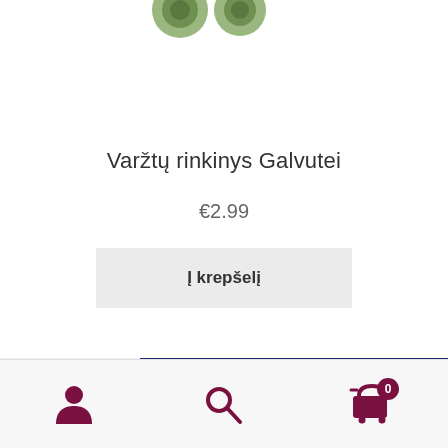[Figure (photo): Partially cropped product image showing screws/bolts at the top of the page]
Varžtų rinkinys Galvutei
€2.99
Į krepšelį
[Figure (photo): Partially visible product strip at the bottom of the main content area]
Navigation bar with user account icon, search icon, and shopping cart icon with badge showing 0